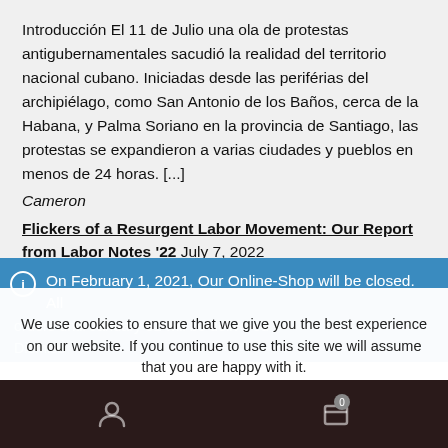Introducción El 11 de Julio una ola de protestas antigubernamentales sacudió la realidad del territorio nacional cubano. Iniciadas desde las periférias del archipiélago, como San Antonio de los Baños, cerca de la Habana, y Palma Soriano en la provincia de Santiago, las protestas se expandieron a varias ciudades y pueblos en menos de 24 horas. [...]
Cameron
Flickers of a Resurgent Labor Movement: Our Report from Labor Notes '22 July 7, 2022
By Black Rose / Rosa Negra Labor Committee Over the weekend of June 17-19, some 4,000 union members and affiliates congregated in Chicago for the 2022 Labor Notes Conference. Owing both to the
On February 1, 2021, Our Online-Shop will be closed. All
orders until January 31 will be delivered
Dismiss
We use cookies to ensure that we give you the best experience on our website. If you continue to use this site we will assume that you are happy with it.
Ok